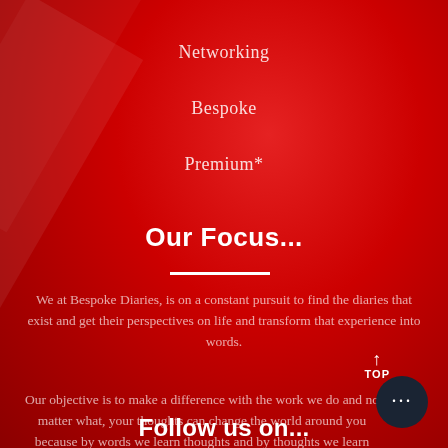Networking
Bespoke
Premium*
Our Focus...
We at Bespoke Diaries, is on a constant pursuit to find the diaries that exist and get their perspectives on life and transform that experience into words.
Our objective is to make a difference with the work we do and no matter what, your thoughts can change the world around you because by words we learn thoughts and by thoughts we learn life.
Follow us on...